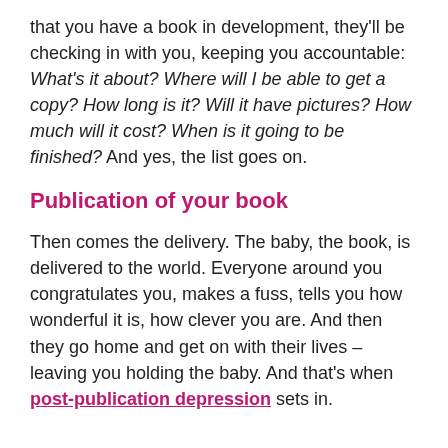that you have a book in development, they'll be checking in with you, keeping you accountable: What's it about? Where will I be able to get a copy? How long is it? Will it have pictures? How much will it cost? When is it going to be finished? And yes, the list goes on.
Publication of your book
Then comes the delivery. The baby, the book, is delivered to the world. Everyone around you congratulates you, makes a fuss, tells you how wonderful it is, how clever you are. And then they go home and get on with their lives – leaving you holding the baby. And that's when post-publication depression sets in.